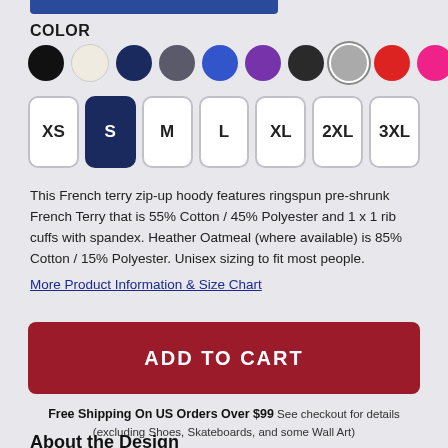COLOR
[Figure (other): Color swatches: black, cream/oatmeal, navy, dark gray, royal blue, purple, black (soft), heather gray (selected), red, hot pink, emerald green]
[Figure (other): Size selector buttons: XS, S (selected/active in navy), M, L, XL, 2XL, 3XL]
This French terry zip-up hoody features ringspun pre-shrunk French Terry that is 55% Cotton / 45% Polyester and 1 x 1 rib cuffs with spandex. Heather Oatmeal (where available) is 85% Cotton / 15% Polyester. Unisex sizing to fit most people.
More Product Information & Size Chart
ADD TO CART
Free Shipping On US Orders Over $99 See checkout for details (excluding Shoes, Skateboards, and some Wall Art)
About the Design